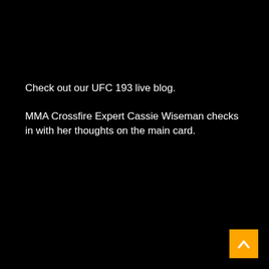Check out our UFC 193 live blog.
MMA Crossfire Expert Cassie Wiseman checks in with her thoughts on the main card.
[Figure (other): Orange back-to-top button with white upward arrow chevron in the bottom-right corner]